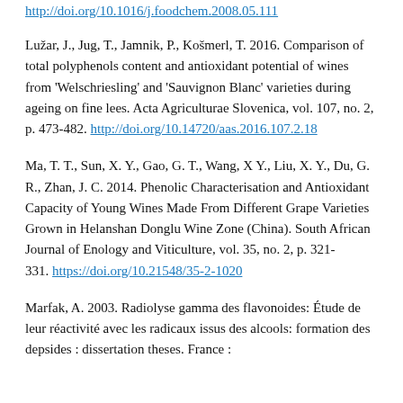http://doi.org/10.1016/j.foodchem.2008.05.111
Lužar, J., Jug, T., Jamnik, P., Košmerl, T. 2016. Comparison of total polyphenols content and antioxidant potential of wines from 'Welschriesling' and 'Sauvignon Blanc' varieties during ageing on fine lees. Acta Agriculturae Slovenica, vol. 107, no. 2, p. 473-482. http://doi.org/10.14720/aas.2016.107.2.18
Ma, T. T., Sun, X. Y., Gao, G. T., Wang, X Y., Liu, X. Y., Du, G. R., Zhan, J. C. 2014. Phenolic Characterisation and Antioxidant Capacity of Young Wines Made From Different Grape Varieties Grown in Helanshan Donglu Wine Zone (China). South African Journal of Enology and Viticulture, vol. 35, no. 2, p. 321-331. https://doi.org/10.21548/35-2-1020
Marfak, A. 2003. Radiolyse gamma des flavonoides: Étude de leur réactivité avec les radicaux issus des alcools: formation des depsides : dissertation theses. France :